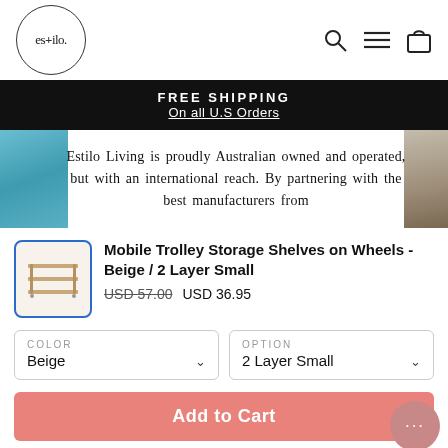[Figure (logo): Estilo Living logo: circle with 'es+ilo.' text inside]
[Figure (infographic): Header icons: search magnifier, hamburger menu, shopping bag]
FREE SHIPPING
On all U.S Orders
Estilo Living is proudly Australian owned and operated, but with an international reach. By partnering with the best manufacturers from
[Figure (photo): Product thumbnail: Mobile Trolley Storage Shelves on Wheels - Beige 2 Layer Small, small bamboo shelf unit]
Mobile Trolley Storage Shelves on Wheels - Beige / 2 Layer Small
USD 57.00  USD 36.95
COLOR
Beige
OPTION
2 Layer Small
Add to Cart